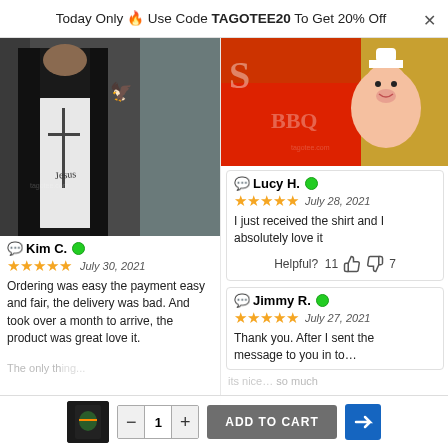Today Only 🔥 Use Code TAGOTEE20 To Get 20% Off
[Figure (photo): Person wearing a white t-shirt with 'Jesus' written on it and a cross design, with a dark jacket over it]
Kim C. 🟢
★★★★★  July 30, 2021
Ordering was easy the payment easy and fair, the delivery was bad. And took over a month to arrive, the product was great love it.
[Figure (photo): Colorful flag or shirt with cartoon pig chef character and red/gold background]
Lucy H. 🟢
★★★★★  July 28, 2021
I just received the shirt and I absolutely love it
Helpful?  11 👍 👎 7
Jimmy R. 🟢
★★★★★  July 27, 2021
Thank you. After I sent the message to you in to...
ADD TO CART